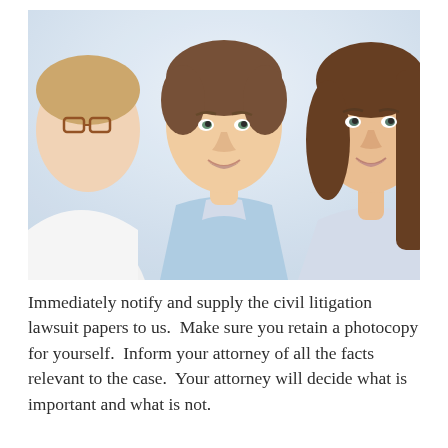[Figure (photo): Three people in a consultation setting: a woman with glasses on the left partially visible, a young man in the center wearing a light blue sweater smiling, and a woman with long brown hair on the right smiling, against a light background.]
Immediately notify and supply the civil litigation lawsuit papers to us.  Make sure you retain a photocopy for yourself.  Inform your attorney of all the facts relevant to the case.  Your attorney will decide what is important and what is not.